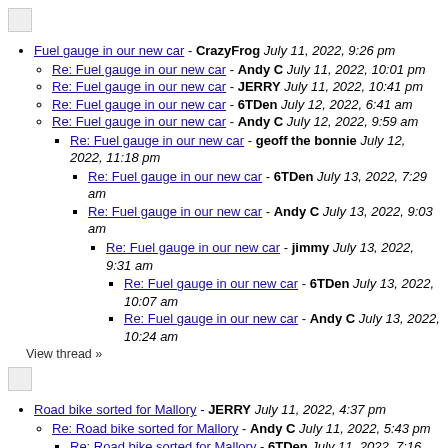[Figure (other): Broken image icon (small placeholder image)]
Fuel gauge in our new car - CrazyFrog July 11, 2022, 9:26 pm
Re: Fuel gauge in our new car - Andy C July 11, 2022, 10:01 pm
Re: Fuel gauge in our new car - JERRY July 11, 2022, 10:41 pm
Re: Fuel gauge in our new car - 6TDen July 12, 2022, 6:41 am
Re: Fuel gauge in our new car - Andy C July 12, 2022, 9:59 am
Re: Fuel gauge in our new car - geoff the bonnie July 12, 2022, 11:18 pm
Re: Fuel gauge in our new car - 6TDen July 13, 2022, 7:29 am
Re: Fuel gauge in our new car - Andy C July 13, 2022, 9:03 am
Re: Fuel gauge in our new car - jimmy July 13, 2022, 9:31 am
Re: Fuel gauge in our new car - 6TDen July 13, 2022, 10:07 am
Re: Fuel gauge in our new car - Andy C July 13, 2022, 10:24 am
View thread »
[Figure (other): Broken image icon (small placeholder image)]
Road bike sorted for Mallory - JERRY July 11, 2022, 4:37 pm
Re: Road bike sorted for Mallory - Andy C July 11, 2022, 5:43 pm
Re: Road bike sorted for Mallory - 6TDen July 11, 2022, 7:16 pm
Re: Road bike sorted for Mallory - Andy C July 11, 2022, 7:17 pm
Re: Road bike sorted for Mallory - JERRY July 11, 2022, 10:39